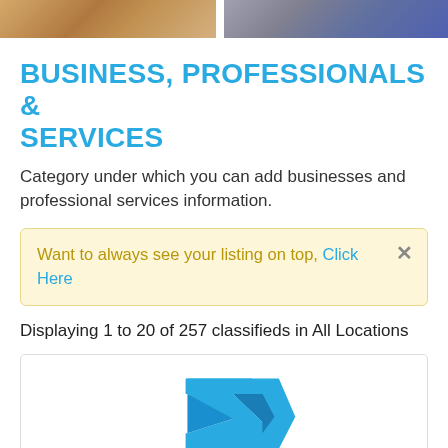[Figure (photo): Photo strip at top of page showing two partial photos of people]
BUSINESS, PROFESSIONALS & SERVICES
Category under which you can add businesses and professional services information.
Want to always see your listing on top, Click Here
Displaying 1 to 20 of 257 classifieds in All Locations
[Figure (logo): Logo with two chevron/arrow shapes: upper one in blue, lower one in red/orange. Resembles a greater-than symbol pair.]